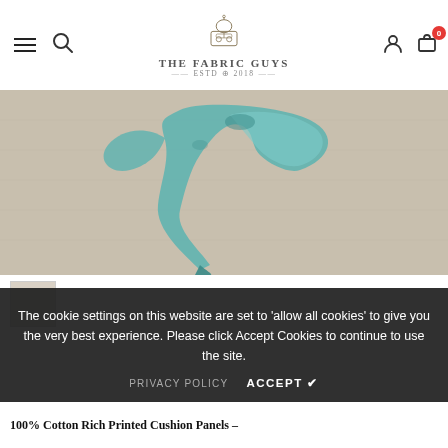[Figure (logo): The Fabric Guys logo with sewing machine icon, brand name and ESTD 2018]
[Figure (photo): Close-up of a teal/turquoise decorative bird shape on a beige linen fabric background]
The cookie settings on this website are set to 'allow all cookies' to give you the very best experience. Please click Accept Cookies to continue to use the site.
PRIVACY POLICY   ACCEPT ✔
100% Cotton Rich Printed Cushion Panels -